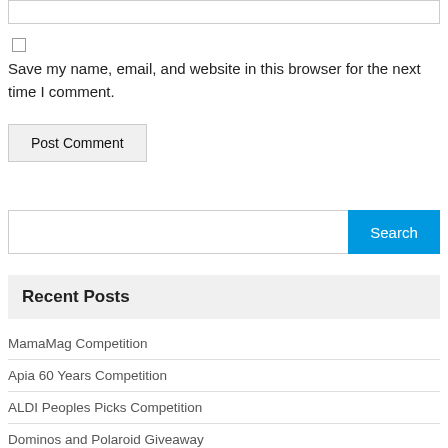Save my name, email, and website in this browser for the next time I comment.
Post Comment
Search
Recent Posts
MamaMag Competition
Apia 60 Years Competition
ALDI Peoples Picks Competition
Dominos and Polaroid Giveaway